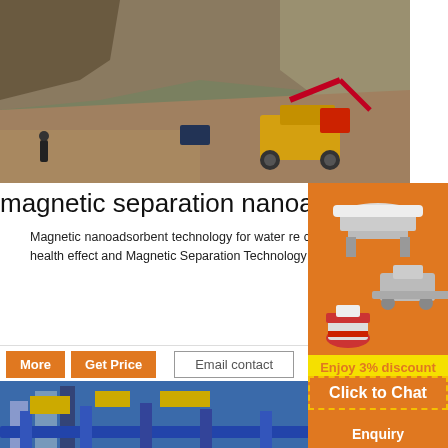[Figure (photo): Aerial view of a mining quarry with a yellow heavy-duty loader/crusher machine on rocky terrain with steep earthen walls in background]
magnetic separation nanoadsorbent - m
Magnetic nanoadsorbent technology for water re convenient and appropriate for removing and sep Before their bulk application health effect and Magnetic Separation Technology For A . Magnetic is one of the best methods for sorting recyclable m
[Figure (photo): Industrial mining facility with blue metal conveyor structures and processing equipment against blue sky]
[Figure (photo): Orange sidebar showing three types of crusher/milling machines - a VSI crusher at top, a mobile crushing plant in middle, and a vertical mill at bottom]
Enjoy 3% discount
Click to Chat
Enquiry